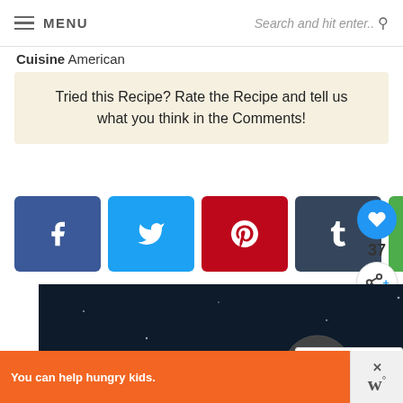MENU | Search and hit enter..
Cuisine American
Tried this Recipe? Rate the Recipe and tell us what you think in the Comments!
[Figure (screenshot): Social share buttons: Facebook (blue), Twitter (light blue), Pinterest (red), Tumblr (dark blue), Email (green)]
[Figure (illustration): Space-themed illustration showing an astronaut floating in space with planets including Saturn, on a dark starry background]
WHAT'S NEXT → Mummy apple hand pies –...
You can help hungry kids. NO KID HUNGRY LEARN HOW